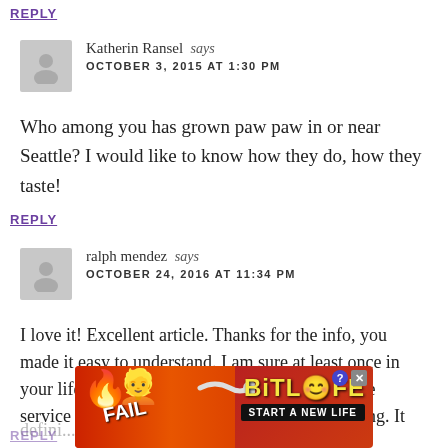REPLY
Katherin Ransel says
OCTOBER 3, 2015 AT 1:30 PM
Who among you has grown paw paw in or near Seattle? I would like to know how they do, how they taste!
REPLY
ralph mendez says
OCTOBER 24, 2016 AT 11:34 PM
I love it! Excellent article. Thanks for the info, you made it easy to understand. I am sure at least once in your life you had to fill out a form. I use a simple service https://goo.gl/PACfKJ for forms filling. It defini...
REPLY
[Figure (screenshot): BitLife advertisement banner — FAIL text with cartoon character, flames, snake graphic, BitLife logo and START A NEW LIFE tagline]